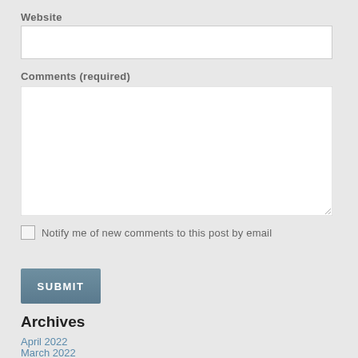Website
[Figure (other): Empty text input field for Website URL]
Comments (required)
[Figure (other): Empty textarea for comments with resize handle]
Notify me of new comments to this post by email
[Figure (other): SUBMIT button with steel blue gradient background]
Archives
April 2022
March 2022
October 2021